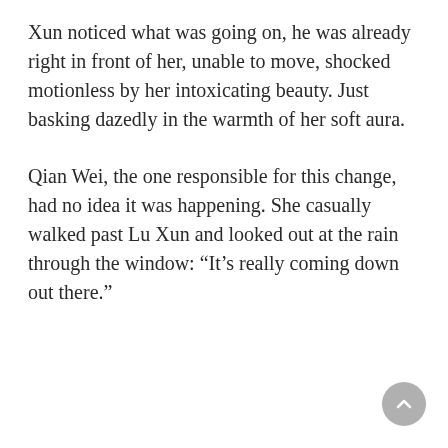Xun noticed what was going on, he was already right in front of her, unable to move, shocked motionless by her intoxicating beauty. Just basking dazedly in the warmth of her soft aura.
Qian Wei, the one responsible for this change, had no idea it was happening. She casually walked past Lu Xun and looked out at the rain through the window: “It’s really coming down out there.”